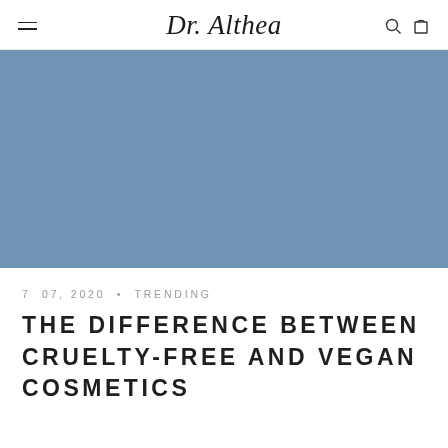Dr. Althea
[Figure (photo): Blue-grey muted hero image placeholder for blog article]
7  07, 2020  •  TRENDING
THE DIFFERENCE BETWEEN CRUELTY-FREE AND VEGAN COSMETICS